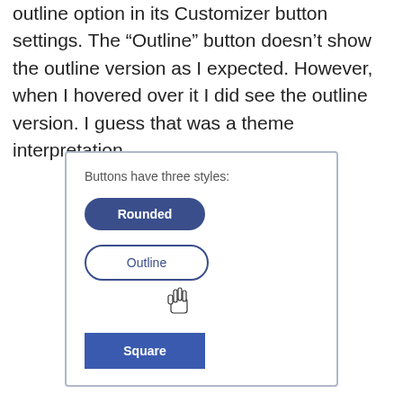outline option in its Customizer button settings. The “Outline” button doesn’t show the outline version as I expected. However, when I hovered over it I did see the outline version. I guess that was a theme interpretation.
[Figure (screenshot): Screenshot showing three button styles labeled 'Buttons have three styles:' with a Rounded button (dark blue, pill-shaped), an Outline button (white background with blue border, pill-shaped, with a pointer/hand cursor hovering over it), and a Square button (dark blue, square corners).]